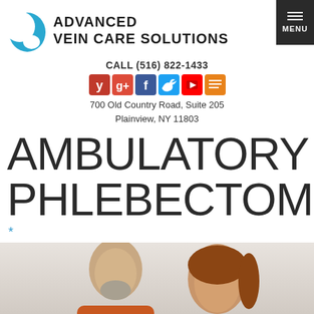[Figure (logo): Advanced Vein Care Solutions logo with blue crescent/wing shape and text]
CALL (516) 822-1433
[Figure (other): Social media icons: Yelp, Google+, Facebook, Twitter, YouTube, RSS]
700 Old Country Road, Suite 205
Plainview, NY 11803
AMBULATORY PHLEBECTOMY
*
[Figure (photo): Photo of a middle-aged man and woman couple, man with gray beard wearing orange shirt, woman with auburn hair]